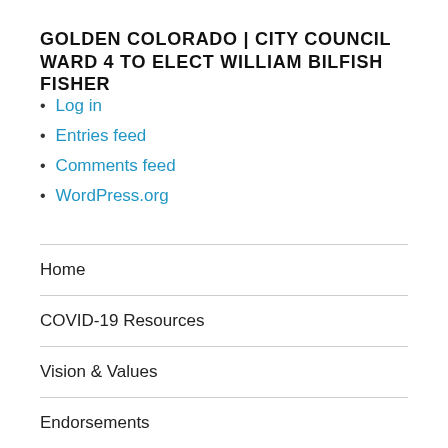GOLDEN COLORADO | CITY COUNCIL WARD 4 TO ELECT WILLIAM BILFISH FISHER
Log in
Entries feed
Comments feed
WordPress.org
Home
COVID-19 Resources
Vision & Values
Endorsements